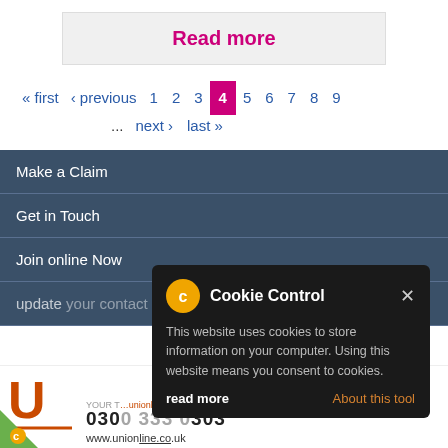Read more
« first ‹ previous 1 2 3 4 5 6 7 8 9 ... next › last »
Make a Claim
Get in Touch
Join online Now
update your contact details
[Figure (screenshot): Cookie Control popup: dark background popup with orange gear icon, title 'Cookie Control', close X button, text 'This website uses cookies to store information on your computer. Using this website means you consent to cookies.', 'read more' link and 'About this tool' link in orange]
0300 333 0303
www.unionline.co.uk